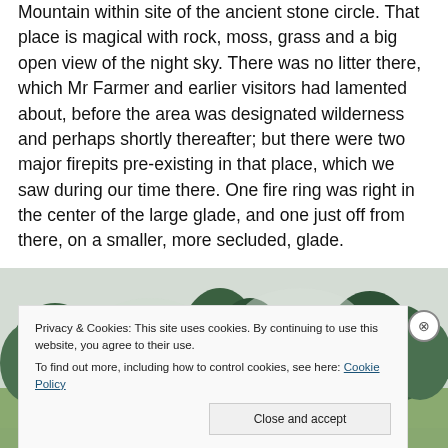Mountain within site of the ancient stone circle. That place is magical with rock, moss, grass and a big open view of the night sky. There was no litter there, which Mr Farmer and earlier visitors had lamented about, before the area was designated wilderness and perhaps shortly thereafter; but there were two major firepits pre-existing in that place, which we saw during our time there. One fire ring was right in the center of the large glade, and one just off from there, on a smaller, more secluded, glade.
[Figure (photo): Outdoor photograph showing trees and foliage against a grey sky, partially obscured by a cookie consent banner overlay.]
Privacy & Cookies: This site uses cookies. By continuing to use this website, you agree to their use.
To find out more, including how to control cookies, see here: Cookie Policy